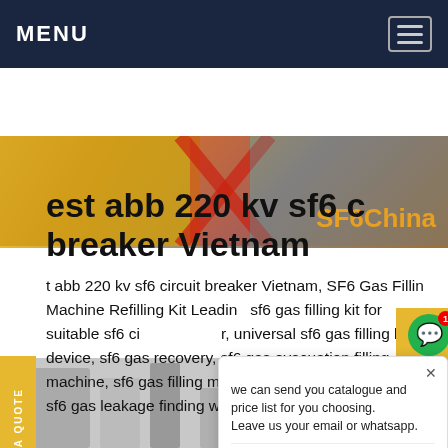MENU
[Figure (photo): Hero image showing industrial equipment with yellow machinery and red scaffolding, with 'SF6China' text overlay]
REQUEST A QUOTE
est abb 220 kv sf6 circuit breaker Vietnam
t abb 220 kv sf6 circuit breaker Vietnam, SF6 Gas Filling Machine Refilling Kit Leading Manufacturer, sf6 gas filling kit for suitable sf6 circuit breaker, universal sf6 gas filling kit device, sf6 gas recovery, sf6 gas evacuation filling machine, sf6 gas filling machine with vacuum pump and sf6 gas leakage finding work from Vadodara.Get price
[Figure (screenshot): Chat popup overlay showing: 'we can send you catalogue and price list for you choosing. Leave us your email or whatsapp.' with SF6 Expert avatar, 'just now' timestamp, and Write/emoji input row]
[Figure (photo): Bottom image strip showing industrial equipment or structures]